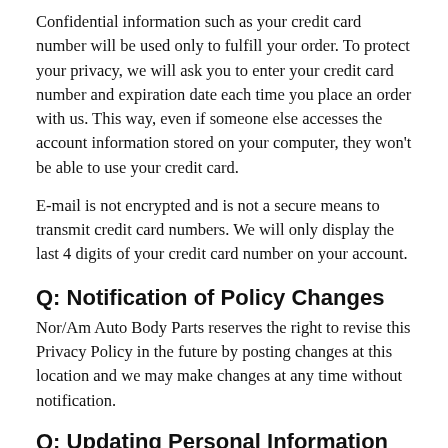Confidential information such as your credit card number will be used only to fulfill your order. To protect your privacy, we will ask you to enter your credit card number and expiration date each time you place an order with us. This way, even if someone else accesses the account information stored on your computer, they won't be able to use your credit card.
E-mail is not encrypted and is not a secure means to transmit credit card numbers. We will only display the last 4 digits of your credit card number on your account.
Q: Notification of Policy Changes
Nor/Am Auto Body Parts reserves the right to revise this Privacy Policy in the future by posting changes at this location and we may make changes at any time without notification.
Q: Updating Personal Information